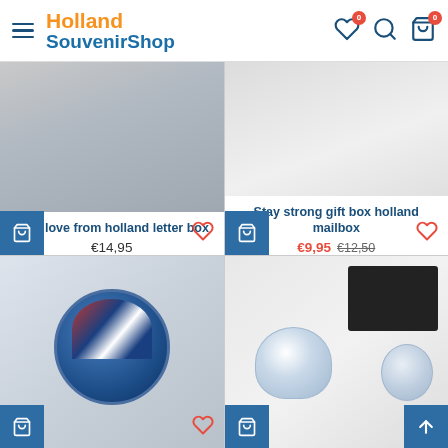Holland SouvenirShop
[Figure (photo): Product image for 'With love from holland letter box']
With love from holland letter box
€14,95
[Figure (photo): Product image for 'Stay strong gift box holland mailbox']
Stay strong gift box holland mailbox
€9,95  €12,50
[Figure (photo): Product image for candy tin with Dutch stroopwafels / Holland syrup waffles in decorative tin]
[Figure (photo): Product image for Delft blue teapot set with tea tin and tea bags, presented in black gift box]